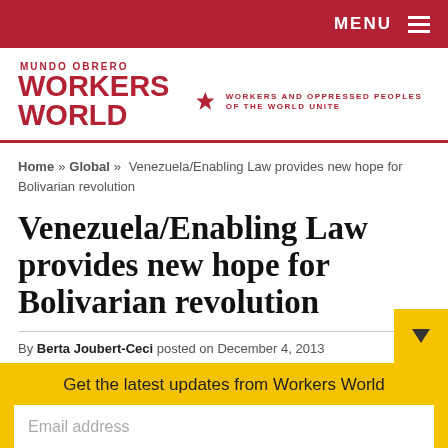MENU
[Figure (logo): Workers World newspaper logo with star. Text: MUNDO OBRERO / WORKERS WORLD and tagline WORKERS AND OPPRESSED PEOPLES OF THE WORLD UNITE]
Home » Global » Venezuela/Enabling Law provides new hope for Bolivarian revolution
Venezuela/Enabling Law provides new hope for Bolivarian revolution
By Berta Joubert-Ceci posted on December 4, 2013
Get the latest updates from Workers World
Email address
Subscribe